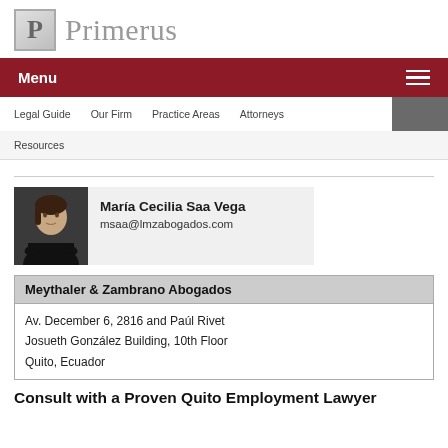[Figure (logo): Primerus logo: a stylized P in a box followed by the word Primerus in serif font]
Menu
Legal Guide  Our Firm  Practice Areas  Attorneys
Resources
[Figure (photo): Professional headshot of María Cecilia Saa Vega, a woman in dark clothing with arms crossed]
María Cecilia Saa Vega
msaa@lmzabogados.com
| Meythaler & Zambrano Abogados |
| --- |
| Av. December 6, 2816 and Paúl Rivet
Josueth González Building, 10th Floor
Quito, Ecuador |
Consult with a Proven Quito Employment Lawyer